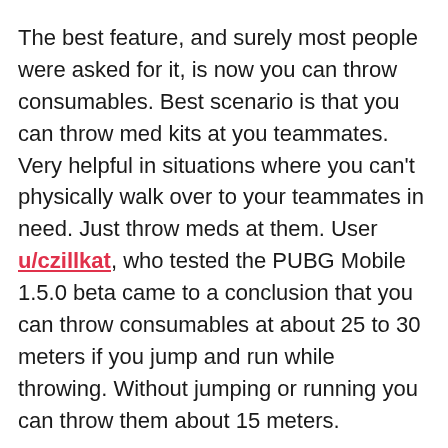The best feature, and surely most people were asked for it, is now you can throw consumables. Best scenario is that you can throw med kits at you teammates. Very helpful in situations where you can't physically walk over to your teammates in need. Just throw meds at them. User u/czillkat, who tested the PUBG Mobile 1.5.0 beta came to a conclusion that you can throw consumables at about 25 to 30 meters if you jump and run while throwing. Without jumping or running you can throw them about 15 meters.
Other features include options for setting Third Person FOV, new LMG airdrop called MG3, new Graphics settings, and more. Checkout the